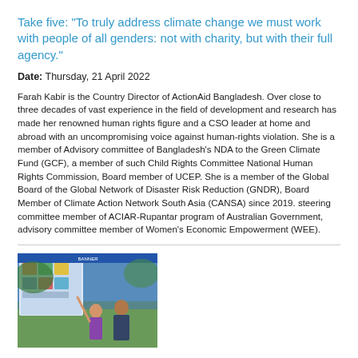Take five: "To truly address climate change we must work with people of all genders: not with charity, but with their full agency."
Date: Thursday, 21 April 2022
Farah Kabir is the Country Director of ActionAid Bangladesh. Over close to three decades of vast experience in the field of development and research has made her renowned human rights figure and a CSO leader at home and abroad with an uncompromising voice against human-rights violation. She is a member of Advisory committee of Bangladesh's NDA to the Green Climate Fund (GCF), a member of such Child Rights Committee National Human Rights Commission, Board member of UCEP. She is a member of the Global Board of the Global Network of Disaster Risk Reduction (GNDR), Board Member of Climate Action Network South Asia (CANSA) since 2019. steering committee member of ACIAR-Rupantar program of Australian Government, advisory committee member of Women's Economic Empowerment (WEE).
[Figure (photo): Photo of two people (a woman and a man) standing in front of a display board at what appears to be an outdoor event or conference.]